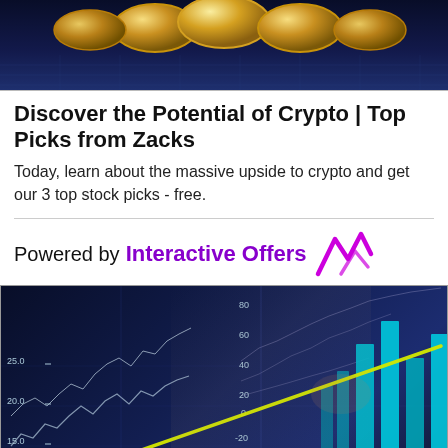[Figure (photo): Dark blue background with golden cryptocurrency coins displayed at the top]
Discover the Potential of Crypto | Top Picks from Zacks
Today, learn about the massive upside to crypto and get our 3 top stock picks - free.
Powered by Interactive Offers
[Figure (photo): Business person pointing at a financial chart with bar chart and line chart overlays on dark blue background]